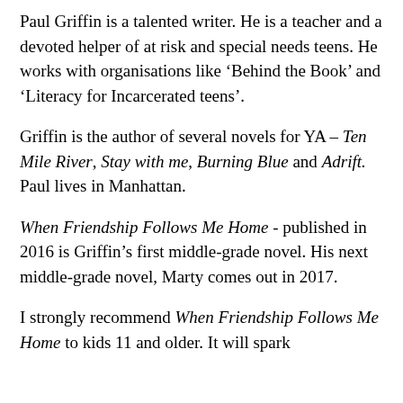Paul Griffin is a talented writer. He is a teacher and a devoted helper of at risk and special needs teens. He works with organisations like ‘Behind the Book’ and ‘Literacy for Incarcerated teens’.
Griffin is the author of several novels for YA – Ten Mile River, Stay with me, Burning Blue and Adrift. Paul lives in Manhattan.
When Friendship Follows Me Home - published in 2016 is Griffin’s first middle-grade novel. His next middle-grade novel, Marty comes out in 2017.
I strongly recommend When Friendship Follows Me Home to kids 11 and older. It will spark